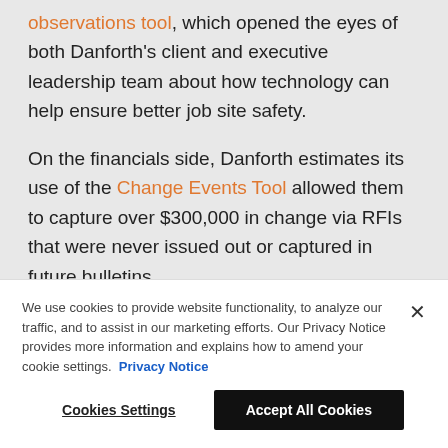observations tool, which opened the eyes of both Danforth's client and executive leadership team about how technology can help ensure better job site safety.
On the financials side, Danforth estimates its use of the Change Events Tool allowed them to capture over $300,000 in change via RFIs that were never issued out or captured in future bulletins.
Danforth even took advantage of Procore's ability for users to create custom tools, creating a pipe fabrication tracker, a sheet metal fabrication tracker,
We use cookies to provide website functionality, to analyze our traffic, and to assist in our marketing efforts. Our Privacy Notice provides more information and explains how to amend your cookie settings. Privacy Notice
Cookies Settings
Accept All Cookies